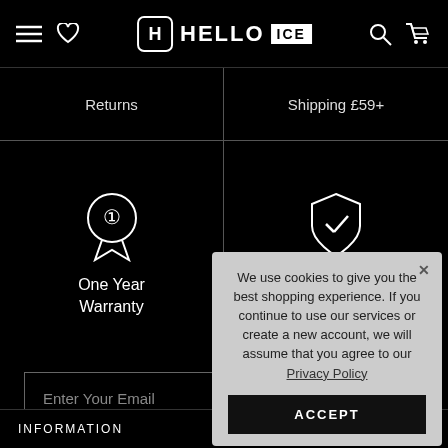HELLO ICE
| Returns | Shipping £59+ |
| --- | --- |
| One Year Warranty (icon) | Secure Shopping (icon) |
Enter Your Email
SUBSCRIBE
I've read and agreed to the privacy policy.
[Figure (screenshot): Cookie consent popup: We use cookies to give you the best shopping experience. If you continue to use our services or create a new account, we will assume that you agree to our Privacy Policy. ACCEPT button.]
INFORMATION